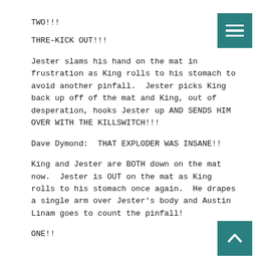TWO!!!
THRE–KICK OUT!!!
Jester slams his hand on the mat in frustration as King rolls to his stomach to avoid another pinfall.  Jester picks King back up off of the mat and King, out of desperation, hooks Jester up AND SENDS HIM OVER WITH THE KILLSWITCH!!!
Dave Dymond:  THAT EXPLODER WAS INSANE!!
King and Jester are BOTH down on the mat now.  Jester is OUT on the mat as King rolls to his stomach once again.  He drapes a single arm over Jester's body and Austin Linam goes to count the pinfall!
ONE!!